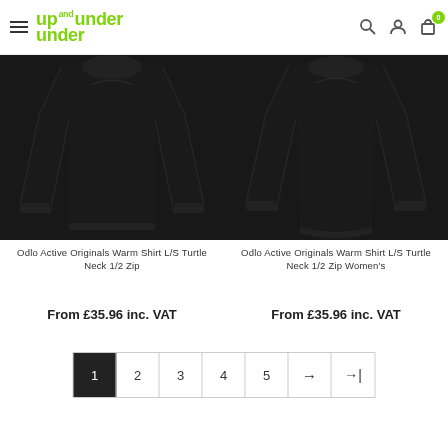Up and Under navigation header with logo, search, account, and cart icons
[Figure (photo): Black long-sleeve turtle neck shirt product photo on dark background - men's version]
Odlo Active Originals Warm Shirt L/S Turtle Neck 1/2 Zip
From £35.96 inc. VAT
[Figure (photo): Black long-sleeve turtle neck shirt product photo on dark background - women's version]
Odlo Active Originals Warm Shirt L/S Turtle Neck 1/2 Zip Women's
From £35.96 inc. VAT
Pagination: 1 (active), 2, 3, 4, 5, next, last